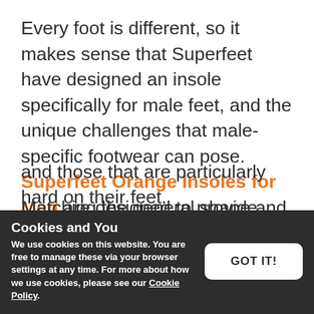Every foot is different, so it makes sense that Superfeet have designed an insole specifically for male feet, and the unique challenges that male-specific footwear can pose. Superfeet Orange Insoles for Men are designed to provide maximum comfort, featuring an added forefoot shock pad to provide great shock absorption. The extra cushioning these insoles provide make them ideal for high-impact activities, and those that are particularly hard on their feet.
Cookies and You
We use cookies on this website. You are free to manage these via your browser settings at any time. For more about how we use cookies, please see our Cookie Policy.
GOT IT!
Matching the general shape and design as the Superfeet Green, the...